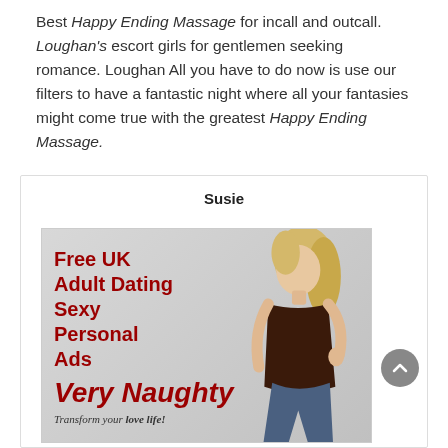Best Happy Ending Massage for incall and outcall. Loughan's escort girls for gentlemen seeking romance. Loughan All you have to do now is use our filters to have a fantastic night where all your fantasies might come true with the greatest Happy Ending Massage.
Susie
[Figure (photo): Advertisement image with text 'Free UK Adult Dating Sexy Personal Ads Very Naughty Transform your love life!' in red on grey background with a blonde woman in dark clothing on the right side.]